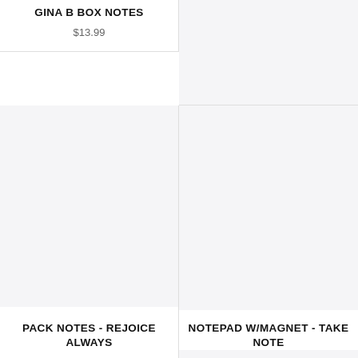GINA B BOX NOTES
$13.99
[Figure (photo): Gray placeholder image area for product (top right)]
[Figure (photo): Gray placeholder image area for PACK NOTES - REJOICE ALWAYS product]
PACK NOTES - REJOICE ALWAYS
$11.99
[Figure (photo): Gray placeholder image area for right column product]
NOTEPAD W/MAGNET - TAKE NOTE